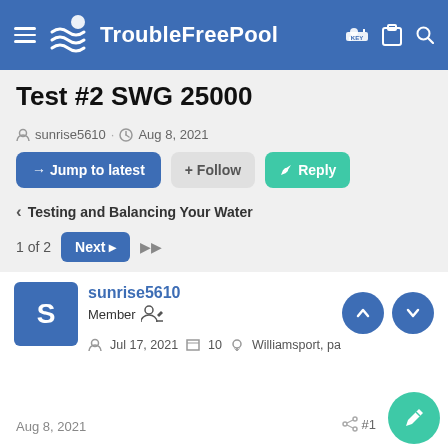TroubleFreePool
Test #2 SWG 25000
sunrise5610 · Aug 8, 2021
→ Jump to latest   + Follow   ✎ Reply
< Testing and Balancing Your Water
1 of 2   Next ▶   ▶▶
sunrise5610
Member
Jul 17, 2021  10  Williamsport, pa
Aug 8, 2021
#1